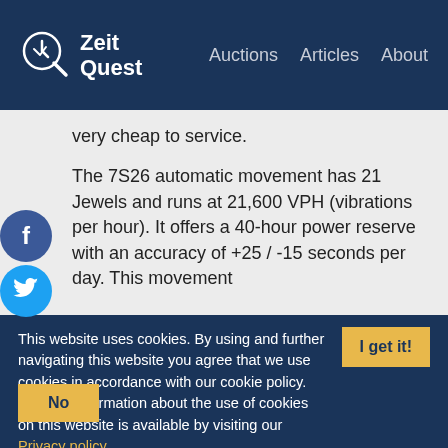ZeitQuest — Auctions  Articles  About
very cheap to service.
The 7S26 automatic movement has 21 Jewels and runs at 21,600 VPH (vibrations per hour). It offers a 40-hour power reserve with an accuracy of +25 / -15 seconds per day. This movement
This website uses cookies. By using and further navigating this website you agree that we use cookies in accordance with our cookie policy. Detailed information about the use of cookies on this website is available by visiting our Privacy policy.
I get it!
No